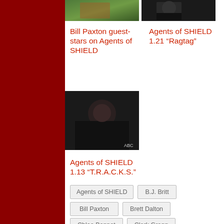[Figure (photo): Thumbnail image with green tones, person in dark/military style clothing]
[Figure (photo): Thumbnail image showing person in dark clothing against dark background]
Bill Paxton guest-stars on Agents of SHIELD
Agents of SHIELD 1.21 “Ragtag”
[Figure (photo): Large thumbnail showing a woman with dark hair against dark background, ABC watermark visible]
Agents of SHIELD 1.13 “T.R.A.C.K.S.”
Agents of SHIELD
B.J. Britt
Bill Paxton
Brett Dalton
Chloe Bennet
Clark Gregg